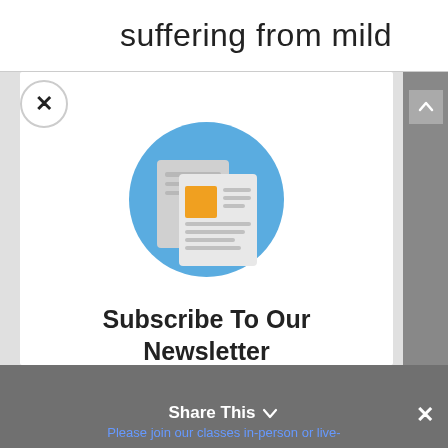suffering from mild
[Figure (illustration): Newsletter icon: two overlapping newspaper/document pages with orange rectangle on front, on a blue circle background]
Subscribe To Our Newsletter
Subscribe to my tri-weekly newsletter with Dhamma Class topics, class and retreat schedule, and updates on new Dhamma articles and audio and video recordings.
Please join our classes in-person or live-